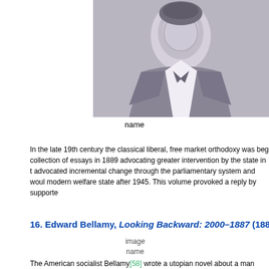[Figure (photo): Black and white portrait photograph of a man in 19th century attire]
name
In the late 19th century the classical liberal, free market orthodoxy was beg collection of essays in 1889 advocating greater intervention by the state in t advocated incremental change through the parliamentary system and woul modern welfare state after 1945. This volume provoked a reply by supporte
16. Edward Bellamy, Looking Backward: 2000–1887 (1888) v
image
name
The American socialist Bellamy[58] wrote a utopian novel about a man who in complete harmony since economic competition had been abolished, the s was abundance for all. The German classical liberal political Richter[59] w